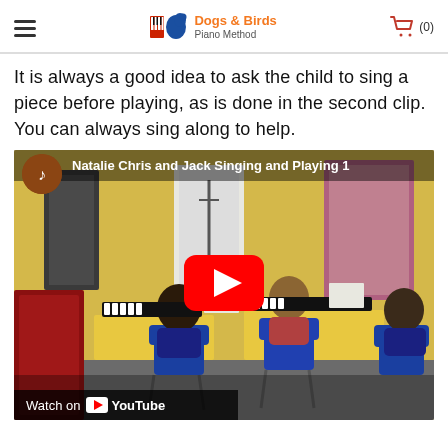Dogs & Birds Piano Method
It is always a good idea to ask the child to sing a piece before playing, as is done in the second clip. You can always sing along to help.
[Figure (screenshot): YouTube video thumbnail showing a classroom with three children sitting at keyboards/pianos with their backs to the camera. Title overlay reads 'Natalie Chris and Jack Singing and Playing 1'. A red YouTube play button is centered on the image. A 'Watch on YouTube' bar appears at the bottom left.]